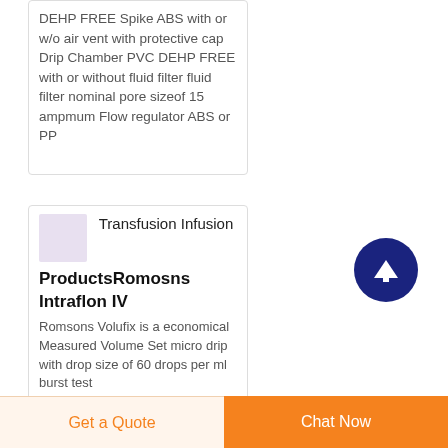DEHP FREE Spike ABS with or w/o air vent with protective cap Drip Chamber PVC DEHP FREE with or without fluid filter fluid filter nominal pore sizeof 15 ampmum Flow regulator ABS or PP
[Figure (photo): Small thumbnail image of a medical infusion product]
Transfusion Infusion ProductsRomosns Intraflon IV
Romsons Volufix is a economical Measured Volume Set micro drip with drop size of 60 drops per ml burst test...
[Figure (other): Scroll-to-top button: dark navy blue circle with white upward arrow]
Get a Quote
Chat Now